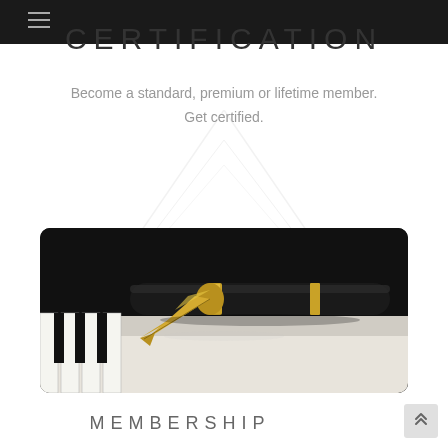CERTIFICATION
Become a standard, premium or lifetime member. Get certified.
[Figure (photo): Close-up photo of a black and gold fountain pen nib resting on paper, with piano keys visible in the background]
MEMBERSHIP